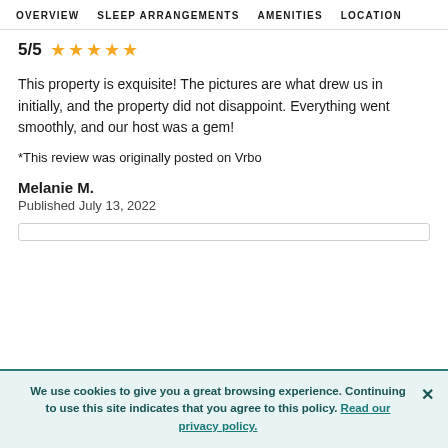OVERVIEW  SLEEP ARRANGEMENTS  AMENITIES  LOCATION
5/5 ★★★★★
This property is exquisite! The pictures are what drew us in initially, and the property did not disappoint. Everything went smoothly, and our host was a gem!
*This review was originally posted on Vrbo
Melanie M.
Published July 13, 2022
We use cookies to give you a great browsing experience. Continuing to use this site indicates that you agree to this policy. Read our privacy policy.